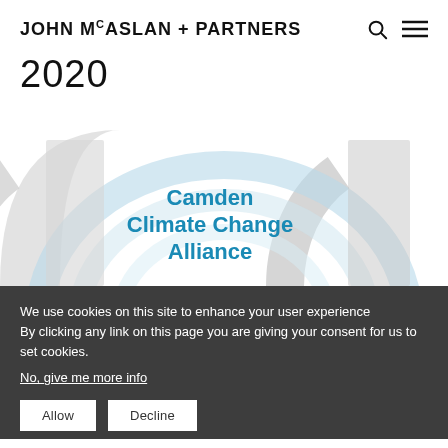JOHN MCASLAN + PARTNERS
2020
[Figure (logo): Camden Climate Change Alliance logo with concentric arc shapes in light blue and grey, with the text 'Camden Climate Change Alliance' in blue bold font]
We use cookies on this site to enhance your user experience By clicking any link on this page you are giving your consent for us to set cookies.
No, give me more info